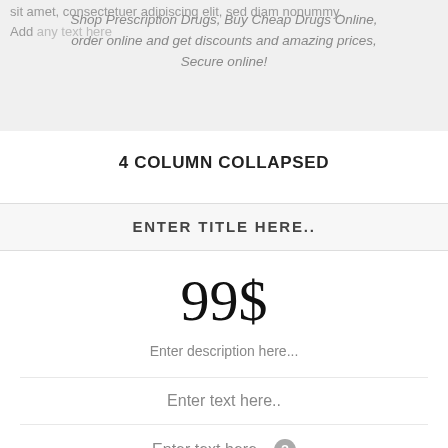sit amet, consectetuer adipiscing elit, sed diam nonummy. Add any text here
Shop Prescription Drugs, Buy Cheap Drugs Online, order online and get discounts and amazing prices, Secure online!
4 COLUMN COLLAPSED
ENTER TITLE HERE..
99$
Enter description here...
Enter text here..
Enter text here..